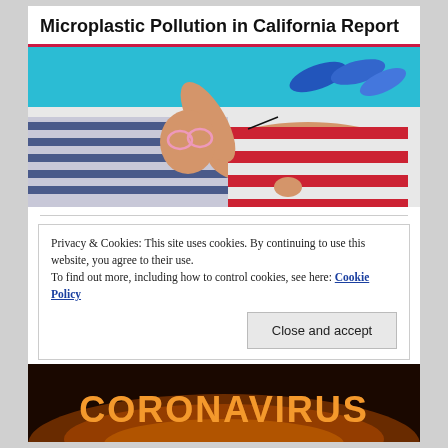Microplastic Pollution in California Report
[Figure (photo): Woman in red and white striped swimsuit lying on striped towel by pool, wearing heart-shaped sunglasses, with flip-flops in background]
Privacy & Cookies: This site uses cookies. By continuing to use this website, you agree to their use.
To find out more, including how to control cookies, see here: Cookie Policy
Close and accept
[Figure (photo): Coronavirus text in dramatic orange/gold fiery letters on dark background]